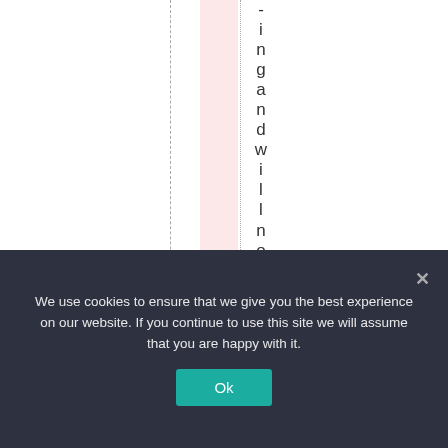[Figure (other): Vertical text reading '-ingandwillnotwork' displayed letter by letter, with a pink highlighted column band, dashed and dotted vertical guide lines.]
We use cookies to ensure that we give you the best experience on our website. If you continue to use this site we will assume that you are happy with it.
Ok